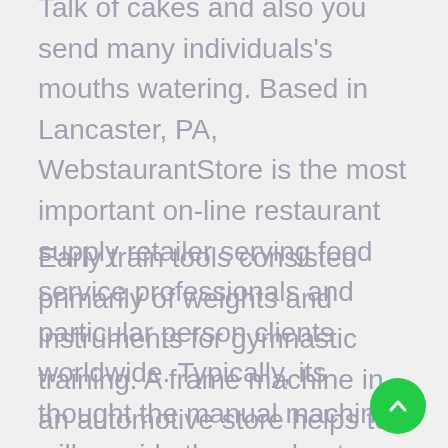Talk of cakes and also you send many individuals's mouths watering. Based in Lancaster, PA, WebstaurantStore is the most important on-line restaurant supply retailer serving food service professionals and particular person clients worldwide. Typically, its thought the manual machines will provide the very best quality with that individual contact making all the difference.
Early train tools consisted primarily of weights and instruments for gymnastic training. A frame machine in an automotive store helps to offer life even to severely broken car. The espresso store gear that you will want shall be approximately $12,000 to $15,000, or $150 for a simple high of the line espresso maker.